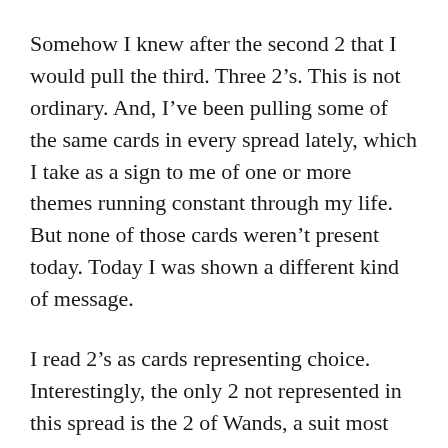Somehow I knew after the second 2 that I would pull the third. Three 2’s. This is not ordinary. And, I’ve been pulling some of the same cards in every spread lately, which I take as a sign to me of one or more themes running constant through my life. But none of those cards weren’t present today. Today I was shown a different kind of message.
I read 2’s as cards representing choice. Interestingly, the only 2 not represented in this spread is the 2 of Wands, a suit most closely associated with Will, or making choices. There was no clear choice to be made; there was only the message given that I am moving into a climate of choice, and that I need to remain aware and alert.
I must be willing to suspend my intellect and trust my intuition (2 of Swords). I must remember that I have already chosen to be in the relationships I’m in, and that is part of the broader picture.